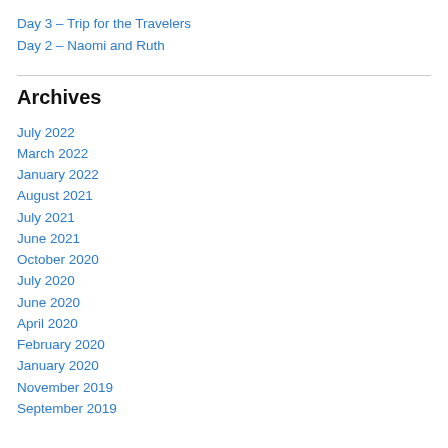Day 3 – Trip for the Travelers
Day 2 – Naomi and Ruth
Archives
July 2022
March 2022
January 2022
August 2021
July 2021
June 2021
October 2020
July 2020
June 2020
April 2020
February 2020
January 2020
November 2019
September 2019